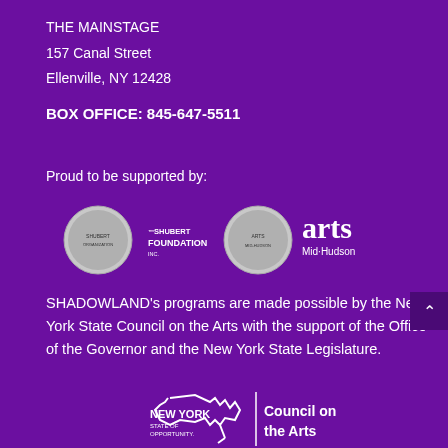THE MAINSTAGE
157 Canal Street
Ellenville, NY 12428
BOX OFFICE: 845-647-5511
Proud to be supported by:
[Figure (logo): Shubert Foundation and Arts Mid-Hudson logos on purple background]
SHADOWLAND's programs are made possible by the New York State Council on the Arts with the support of the Office of the Governor and the New York State Legislature.
[Figure (logo): New York State of Opportunity - Council on the Arts logo]